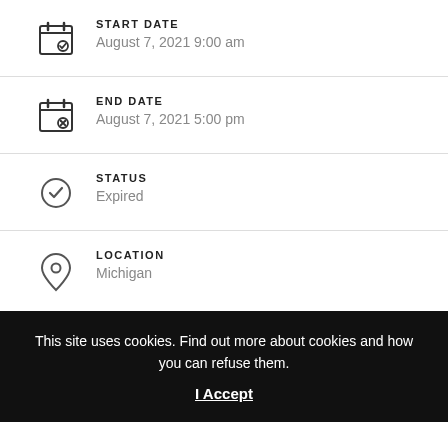START DATE
August 7, 2021 9:00 am
END DATE
August 7, 2021 5:00 pm
STATUS
Expired
LOCATION
Michigan
This site uses cookies. Find out more about cookies and how you can refuse them.
I Accept